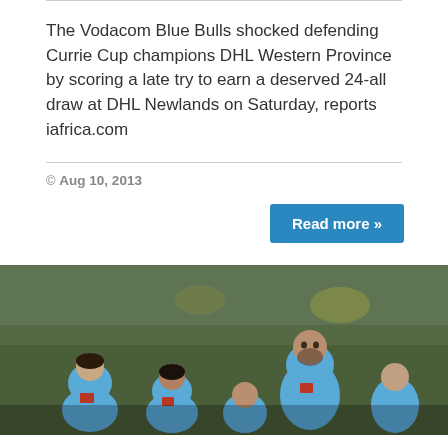The Vodacom Blue Bulls shocked defending Currie Cup champions DHL Western Province by scoring a late try to earn a deserved 24-all draw at DHL Newlands on Saturday, reports iafrica.com
© Aug 10, 2013
Read more »
[Figure (photo): Rugby players in blue jerseys lined up during a match, with a crowd visible in the background]